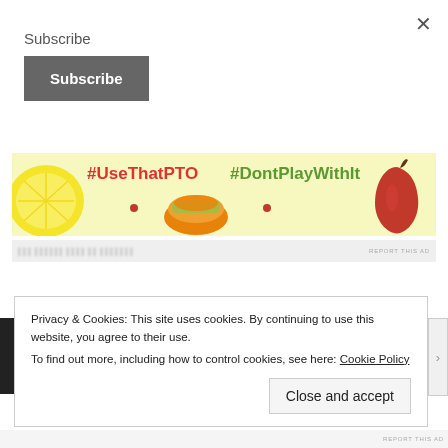×
Subscribe
Subscribe
[Figure (illustration): Advertising banner with food-themed illustration: lemon slice, taco, red chili pepper, with hashtags #UseThatPTO in red and #DontPlayWithIt in green on a pale yellow background]
[Figure (screenshot): Blurry advertisement strip with REPORT THIS AD text]
Privacy & Cookies: This site uses cookies. By continuing to use this website, you agree to their use.
To find out more, including how to control cookies, see here: Cookie Policy
Close and accept